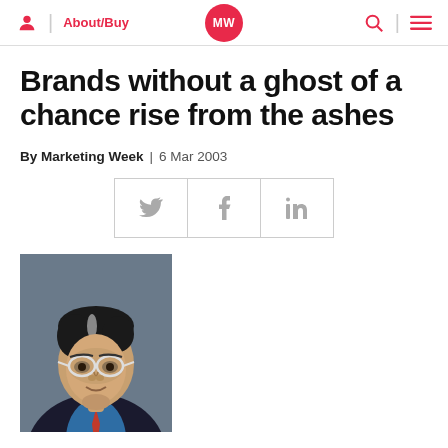About/Buy | MW | Search | Menu
Brands without a ghost of a chance rise from the ashes
By Marketing Week | 6 Mar 2003
[Figure (other): Social sharing buttons: Twitter, Facebook, LinkedIn]
[Figure (photo): Black and white portrait photo of a middle-aged man wearing glasses and a suit with a blue shirt and red tie, looking down slightly]